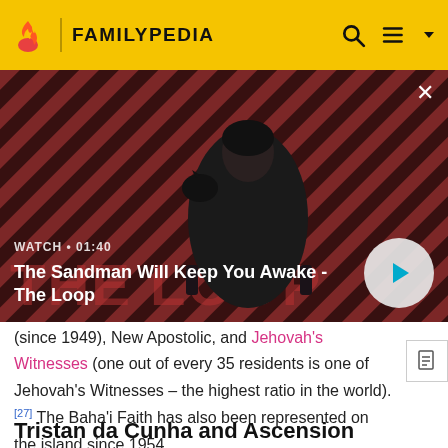FAMILYPEDIA
[Figure (screenshot): Video thumbnail for 'The Sandman Will Keep You Awake - The Loop' with WATCH • 01:40 label and play button. Shows a dark-clad figure with a raven on a red and black striped background.]
(since 1949), New Apostolic, and Jehovah's Witnesses (one out of every 35 residents is one of Jehovah's Witnesses – the highest ratio in the world).[27] The Baha'i Faith has also been represented on the island since 1954.
Tristan da Cunha and Ascension